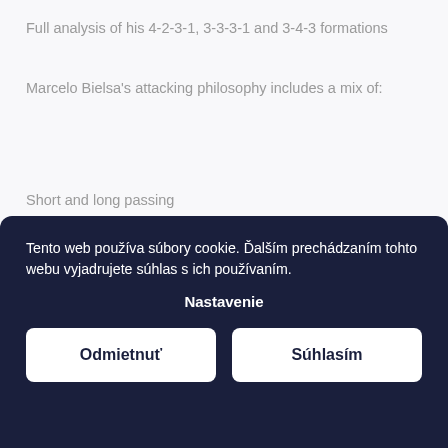Full analysis of his 4-2-3-1, 3-3-3-1 and 3-4-3 formations
Marcelo Bielsa's attacking philosophy includes a mix of:
Short and long passing
Tento web používa súbory cookie. Ďalším prechádzaním tohto webu vyjadrujete súhlas s ich používaním.
Nastavenie
Odmietnuť
Súhlasím